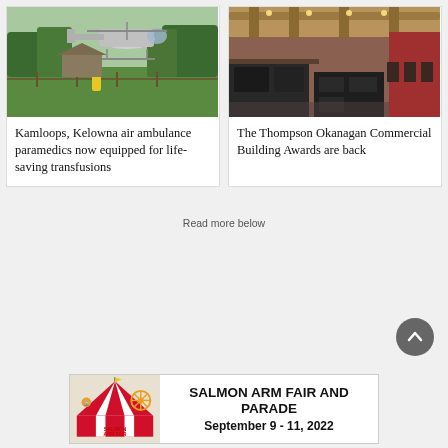[Figure (photo): Helicopter landing in a green field with a person in yellow safety gear. Trees in background.]
Kamloops, Kelowna air ambulance paramedics now equipped for life-saving transfusions
[Figure (photo): Interior of a modern commercial building with wood beam ceiling, black cabinetry, and red accent wall.]
The Thompson Okanagan Commercial Building Awards are back
Read more below
[Figure (infographic): Salmon Arm Fair and Parade advertisement banner. Text reads: SALMON ARM FAIR AND PARADE, September 9 - 11, 2022]